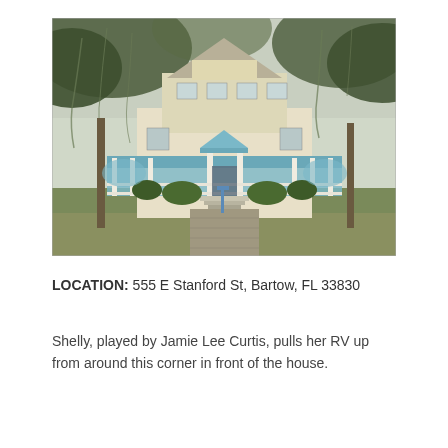[Figure (photo): Photograph of a large historic Victorian-style house with a wide wraparound porch, white columns, blue trim, and Spanish moss-draped oak trees in front. A brick walkway leads to the front steps. Green lawn surrounds the house.]
LOCATION: 555 E Stanford St, Bartow, FL 33830
Shelly, played by Jamie Lee Curtis, pulls her RV up from around this corner in front of the house.